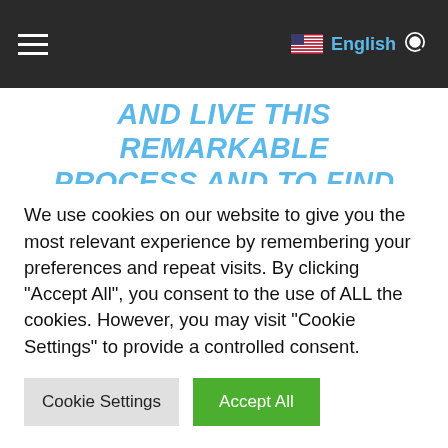Navigation bar with hamburger menu, US flag, English language selector, and search icon
AND LIVE THIS REMARKABLE PROCESS AND TO FIND HAPPINESS AS WHAT KATIE CALLS “A LOVER OF REALITY”.
[Figure (photo): Partially visible image with beige/tan background, possibly a person or scene related to the page content]
We use cookies on our website to give you the most relevant experience by remembering your preferences and repeat visits. By clicking “Accept All”, you consent to the use of ALL the cookies. However, you may visit "Cookie Settings" to provide a controlled consent.